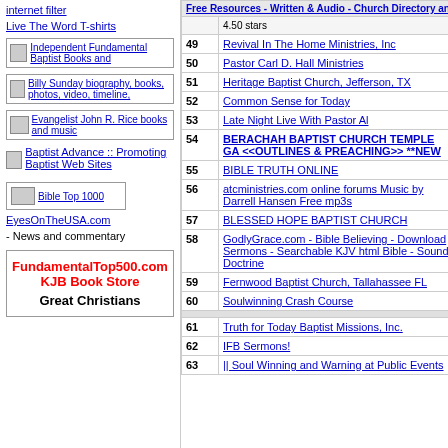internet filter
Live The Word T-shirts
[Figure (other): Sidebar box with image: Independent Fundamental Baptist Books and]
[Figure (other): Sidebar box with image: Billy Sunday biography, books, photos, video, timeline,]
[Figure (other): Sidebar box with image: Evangelist John R. Rice books and music]
Baptist Advance :: Promoting Baptist Web Sites
[Figure (other): Bible Top 1000 image box]
EyesOnTheUSA.com - News and commentary
[Figure (other): FundamentalTop500.com KJB Book Store Great Christians store advertisement box]
| # | Site | In | Out |
| --- | --- | --- | --- |
|  | Free Resources - Written & Audio - Church Directory and much more. 4.50 stars |  |  |
| 49 | Revival In The Home Ministries, Inc | 6 | 18 |
| 50 | Pastor Carl D. Hall Ministries | 5 | 1 |
| 51 | Heritage Baptist Church, Jefferson, TX | 5 | 11 |
| 52 | Common Sense for Today | 5 | 19 |
| 53 | Late Night Live With Pastor Al | 5 | 7 |
| 54 | BERACHAH BAPTIST CHURCH TEMPLE GA <<OUTLINES & PREACHING>> **NEW | 4 | 11 |
| 55 | BIBLE TRUTH ONLINE | 4 | 9 |
| 56 | atcministries.com online forums Music by Darrell Hansen Free mp3s | 4 | 0 |
| 57 | BLESSED HOPE BAPTIST CHURCH | 4 | 50 |
| 58 | GodlyGrace.com - Bible Believing - Download Sermons - Searchable KJV html Bible - Sound Doctrine | 4 | 4 |
| 59 | Fernwood Baptist Church, Tallahassee FL | 4 | 5 |
| 60 | Soulwinning Crash Course | 3 | 0 |
| 61 | Truth for Today Baptist Missions, Inc. | 3 | 0 |
| 62 | IFB Sermons! | 3 | 10 |
| 63 | || Soul Winning and Warning at Public Events | 3 | 2 |